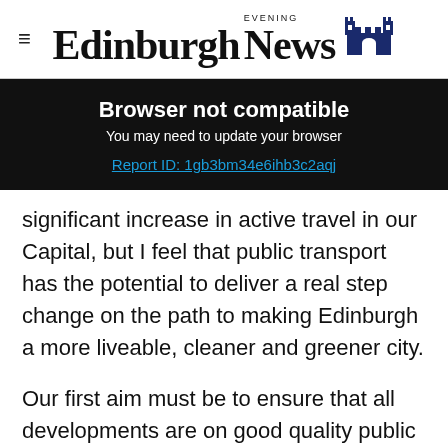Edinburgh Evening News
Browser not compatible
You may need to update your browser
Report ID: 1gb3bm34e6ihb3c2aqj
significant increase in active travel in our Capital, but I feel that public transport has the potential to deliver a real step change on the path to making Edinburgh a more liveable, cleaner and greener city.
Our first aim must be to ensure that all developments are on good quality public transport routes, and residents can meet their